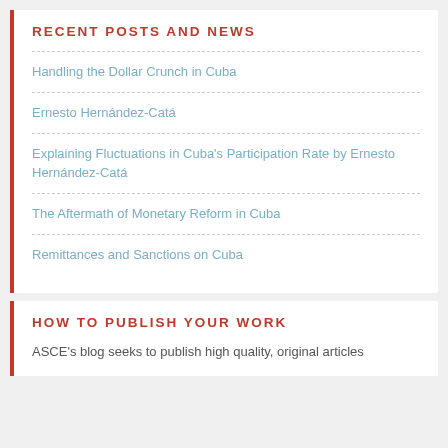RECENT POSTS AND NEWS
Handling the Dollar Crunch in Cuba
Ernesto Hernández-Catá
Explaining Fluctuations in Cuba's Participation Rate by Ernesto Hernández-Catá
The Aftermath of Monetary Reform in Cuba
Remittances and Sanctions on Cuba
HOW TO PUBLISH YOUR WORK
ASCE's blog seeks to publish high quality, original articles